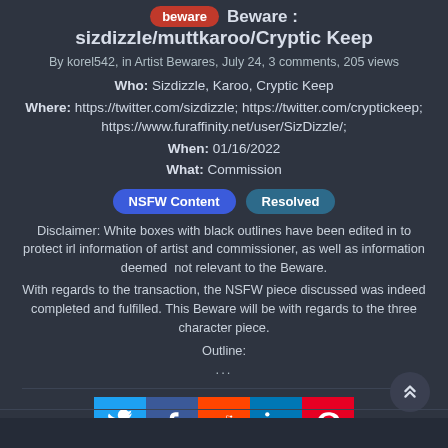Beware: sizdizzle/muttkaroo/Cryptic Keep
By korel542, in Artist Bewares, July 24, 3 comments, 205 views
Who: Sizdizzle, Karoo, Cryptic Keep
Where: https://twitter.com/sizdizzle; https://twitter.com/cryptickeep; https://www.furaffinity.net/user/SizDizzle/;
When: 01/16/2022
What: Commission
NSFW Content  Resolved
Disclaimer: White boxes with black outlines have been edited in to protect irl information of artist and commissioner, as well as information deemed  not relevant to the Beware.
With regards to the transaction, the NSFW piece discussed was indeed completed and fulfilled. This Beware will be with regards to the three character piece.
Outline:
...